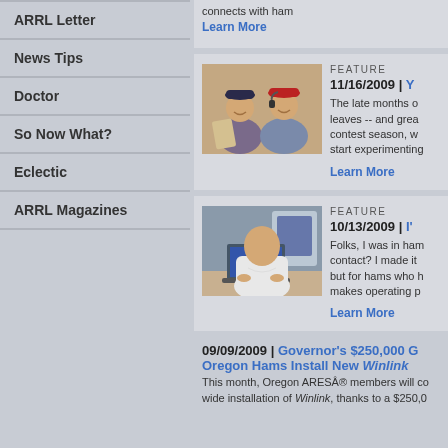ARRL Letter
News Tips
Doctor
So Now What?
Eclectic
ARRL Magazines
connects with ham
Learn More
[Figure (photo): Two men smiling together wearing hats, one in a red cap, indoors]
FEATURE
11/16/2009 | Y
The late months o... leaves -- and grea... contest season, w... start experimenting...
Learn More
[Figure (photo): Bald man sitting at a desk using a laptop computer, viewed from behind]
FEATURE
10/13/2009 | I'...
Folks, I was in ham... contact? I made it... but for hams who h... makes operating p...
Learn More
09/09/2009 | Governor's $250,000 G... Oregon Hams Install New Winlink...
This month, Oregon ARESÂ® members will c... wide installation of Winlink, thanks to a $250,0...